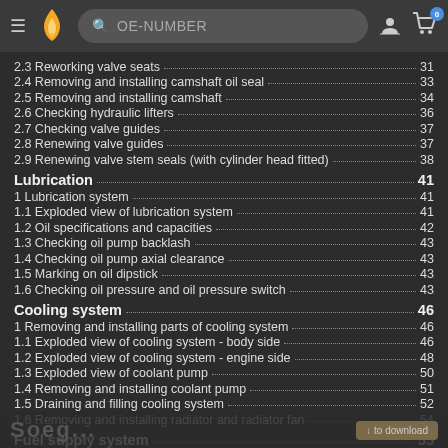OE-NUMBER search header with logo and cart
2.3 Reworking valve seats ... 31
2.4 Removing and installing camshaft oil seal ... 33
2.5 Removing and installing camshaft ... 34
2.6 Checking hydraulic lifters ... 36
2.7 Checking valve guides ... 37
2.8 Renewing valve guides ... 37
2.9 Renewing valve stem seals (with cylinder head fitted) ... 38
Lubrication ... 41
1 Lubrication system ... 41
1.1 Exploded view of lubrication system ... 41
1.2 Oil specifications and capacities ... 42
1.3 Checking oil pump backlash ... 43
1.4 Checking oil pump axial clearance ... 43
1.5 Marking on oil dipstick ... 43
1.6 Checking oil pressure and oil pressure switch ... 43
Cooling system ... 46
1 Removing and installing parts of cooling system ... 46
1.1 Exploded view of cooling system - body side ... 46
1.2 Exploded view of cooling system - engine side ... 48
1.3 Exploded view of coolant pump ... 50
1.4 Removing and installing coolant pump ... 51
1.5 Draining and filling cooling system ... 52
1.6 Removing and installing radiator and radiator fan ... 54
Fuel supply system ... 55
1 Removing and installing parts of fuel supply system ... 55